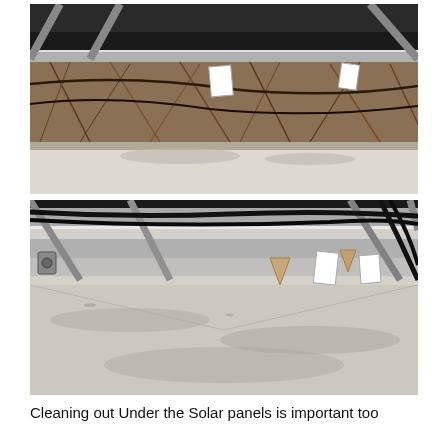[Figure (photo): Photograph showing the underside of solar panels with bird nesting material, dried grass, twigs, and debris accumulated beneath the panels on a white roof surface. Dark wiring and panel frames are visible.]
[Figure (photo): Photograph showing the underside of solar panels after or during cleaning. Black cables are visible running beneath the panels, with wooden wedge protrusions and label tags. The white roof surface below is dusty/dirty.]
Cleaning out Under the Solar panels is important too